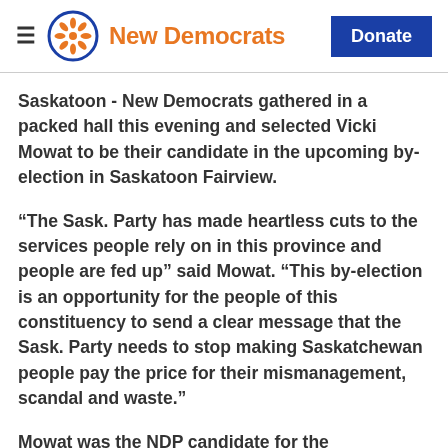New Democrats | Donate
Saskatoon - New Democrats gathered in a packed hall this evening and selected Vicki Mowat to be their candidate in the upcoming by-election in Saskatoon Fairview.
“The Sask. Party has made heartless cuts to the services people rely on in this province and people are fed up” said Mowat. “This by-election is an opportunity for the people of this constituency to send a clear message that the Sask. Party needs to stop making Saskatchewan people pay the price for their mismanagement, scandal and waste.”
Mowat was the NDP candidate for the constituency in 2016 and lives on the west-side of Saskatoon with her partner Grayson, a teacher. She works as the Executive